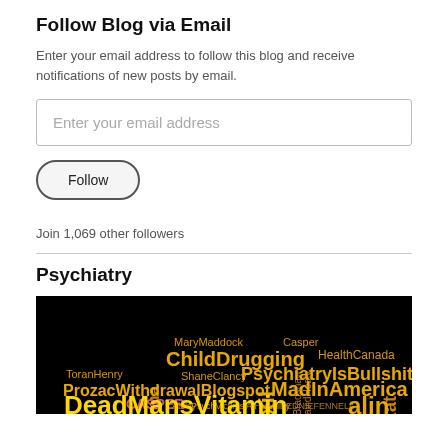Follow Blog via Email
Enter your email address to follow this blog and receive notifications of new posts by email.
Enter your email address
Follow
Join 1,069 other followers
Psychiatry
[Figure (infographic): Word cloud on black background with psychiatric/medical terms in yellow and orange text including: BigPharma, ChildDrugging, PsychiatryIsBullshit, ProzacWithdrawalBlogspot, MadInAmerica, DeadMansVitamin, Seroxat, Paxil, MaryMaddock, ShaneClancy, ToranHenry, HealthCanada, DavidHealy, MariaBradshaw, Casper, Abilify, PsychVictims, CASPER, LEDNIEFENNELL and others]